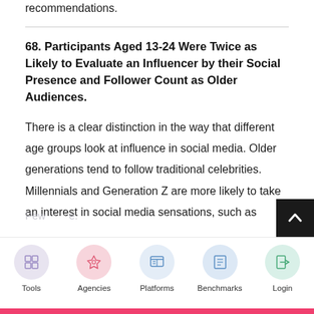recommendations.
68. Participants Aged 13-24 Were Twice as Likely to Evaluate an Influencer by their Social Presence and Follower Count as Older Audiences.
There is a clear distinction in the way that different age groups look at influence in social media. Older generations tend to follow traditional celebrities. Millennials and Generation Z are more likely to take an interest in social media sensations, such as
[Figure (screenshot): Mobile navigation bar with five icons: Tools (purple circle with grid icon), Agencies (pink circle with rocket icon), Platforms (blue circle with browser icon), Benchmarks (blue circle with list icon), Login (green circle with door icon). Also a back-to-top button (dark square with up arrow) and a partially visible Pew Research watermark.]